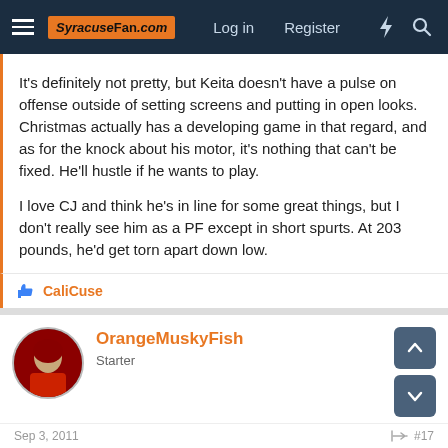SyracuseFan.com | Log in | Register
It's definitely not pretty, but Keita doesn't have a pulse on offense outside of setting screens and putting in open looks. Christmas actually has a developing game in that regard, and as for the knock about his motor, it's nothing that can't be fixed. He'll hustle if he wants to play.

I love CJ and think he's in line for some great things, but I don't really see him as a PF except in short spurts. At 203 pounds, he'd get torn apart down low.
CaliCuse
OrangeMuskyFish
Starter
Sep 3, 2011  #17